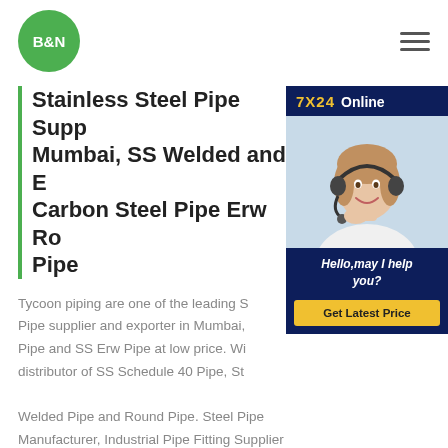[Figure (logo): B&N logo — green circle with white bold text B&N]
[Figure (illustration): Hamburger menu icon — three horizontal dark lines]
Stainless Steel Pipe Supplier in Mumbai, SS Welded and Erw Pipe, Carbon Steel Pipe Erw Round Steel Pipe
[Figure (photo): 7X24 Online chat widget showing a woman with a headset smiling, with message 'Hello,may I help you?' and a yellow 'Get Latest Price' button]
Tycoon piping are one of the leading SS Pipe supplier and exporter in Mumbai, Pipe and SS Erw Pipe at low price. Wide distributor of SS Schedule 40 Pipe, Stainless Steel Welded Pipe and Round Pipe. Steel Pipe Manufacturer, Industrial Pipe Fitting Supplier Buy Carbon Steel Pipe Erw Round Steel PipeCangzhou Datang Steel Pipe Co., Ltd was founded in 2007. We are mainly engaged in the manufacturing, distribution